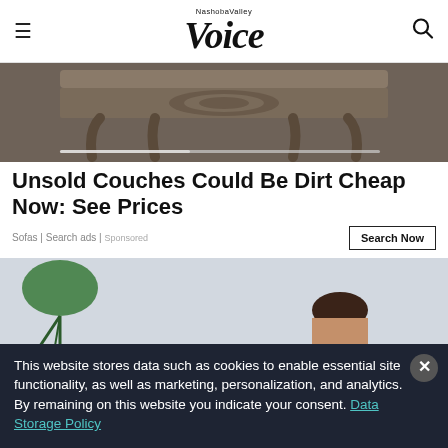Nashoba Valley Voice
[Figure (photo): Top portion of an ornate wooden dresser or console table with carved details, shown against a gray background]
Unsold Couches Could Be Dirt Cheap Now: See Prices
Sofas | Search ads | Sponsored
[Figure (photo): Woman partially visible peeking from behind a white brick wall with a monstera plant in a light studio setting]
This website stores data such as cookies to enable essential site functionality, as well as marketing, personalization, and analytics. By remaining on this website you indicate your consent. Data Storage Policy